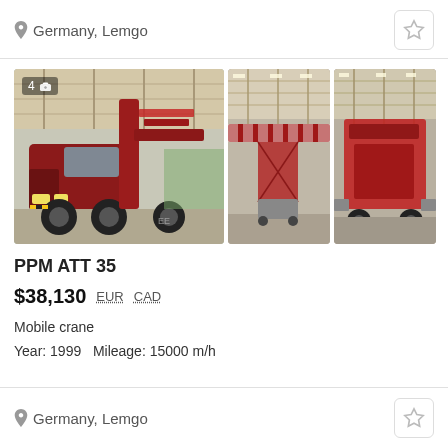Germany, Lemgo
[Figure (photo): Three photos of a PPM ATT 35 mobile crane inside a large industrial warehouse/shed. Main photo shows red truck-mounted crane from front-side view; two smaller thumbnails show the crane boom extended horizontally inside the building.]
PPM ATT 35
$38,130  EUR  CAD
Mobile crane
Year: 1999   Mileage: 15000 m/h
Germany, Lemgo